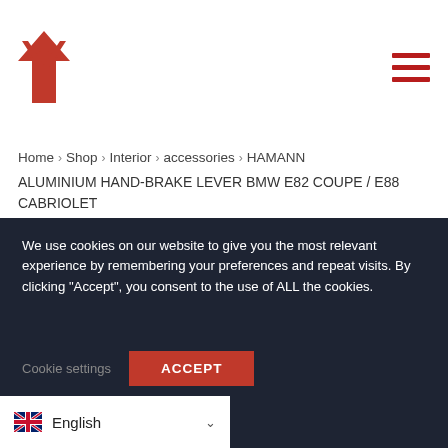[Figure (logo): Hamann red Y-shaped logo mark]
[Figure (other): Hamburger menu icon with three red horizontal lines]
Home > Shop > Interior > accessories > HAMANN ALUMINIUM HAND-BRAKE LEVER BMW E82 COUPE / E88 CABRIOLET
[Figure (other): Red and white globe/language selector icon]
We use cookies on our website to give you the most relevant experience by remembering your preferences and repeat visits. By clicking “Accept”, you consent to the use of ALL the cookies.
Cookie settings   ACCEPT
English